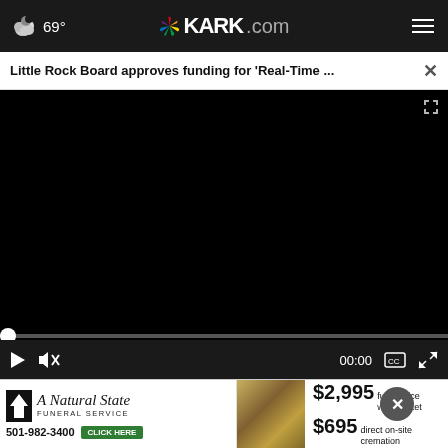69° KARK.com
Little Rock Board approves funding for 'Real-Time ...
[Figure (screenshot): Black video player area with scrubber bar at bottom showing 00:00 timestamp, play button, mute button, captions and fullscreen controls]
[Figure (photo): Advertisement for A Natural State Funeral Service showing $2,995 full service with casket and $695 direct on-site cremation, phone 501-982-3400]